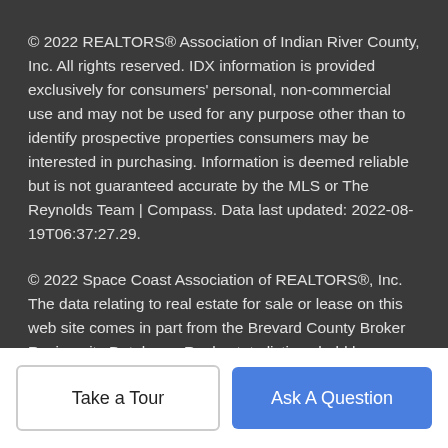© 2022 REALTORS® Association of Indian River County, Inc. All rights reserved. IDX information is provided exclusively for consumers' personal, non-commercial use and may not be used for any purpose other than to identify prospective properties consumers may be interested in purchasing. Information is deemed reliable but is not guaranteed accurate by the MLS or The Reynolds Team | Compass. Data last updated: 2022-08-19T06:37:27.29.
© 2022 Space Coast Association of REALTORS®, Inc. The data relating to real estate for sale or lease on this web site comes in part from the Brevard County Broker Reciprocity Database. Real estate listings held by brokerage firms other than The Reynolds Team | Compass are marked with the IDX logo and detailed information about them includes the name of the listing broker.
Information is deemed reliable but is not guaranteed accurate by the...